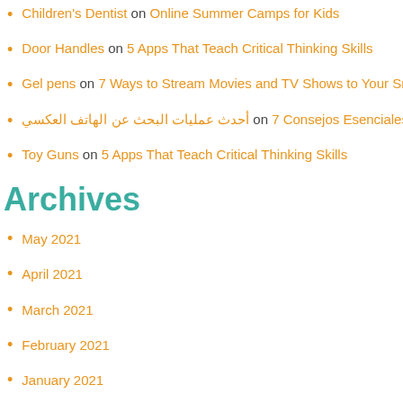Children's Dentist on Online Summer Camps for Kids
Door Handles on 5 Apps That Teach Critical Thinking Skills
Gel pens on 7 Ways to Stream Movies and TV Shows to Your Sma…
أحدث عمليات البحث عن الهاتف العكسي on 7 Consejos Esenciales pa…
Toy Guns on 5 Apps That Teach Critical Thinking Skills
Archives
May 2021
April 2021
March 2021
February 2021
January 2021
December 2020
November 2020